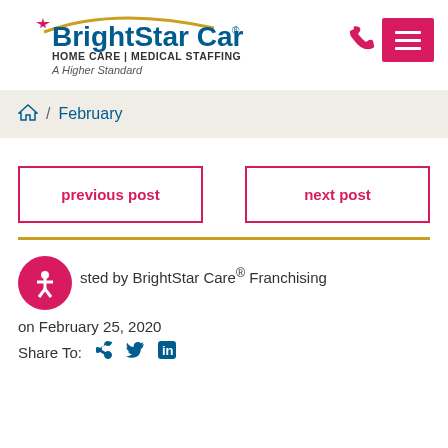[Figure (logo): BrightStar Care logo with star icon, arc swoosh, phone icon, and hamburger menu button. Text: HOME CARE | MEDICAL STAFFING, A Higher Standard]
🏠 / February
previous post
next post
Posted by BrightStar Care® Franchising
on February 25, 2020
Share To: